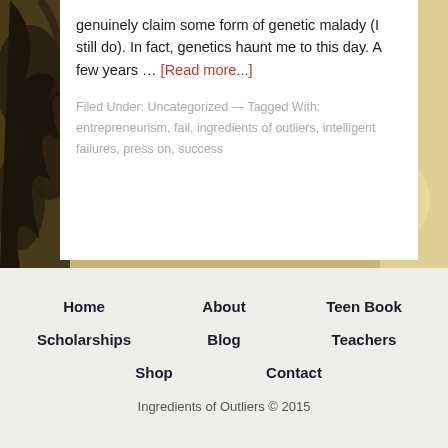genuinely claim some form of genetic malady (I still do). In fact, genetics haunt me to this day. A few years … [Read more...]
Filed Under: Uncategorized — Tagged With: entrepreneurism, fail, ingredients of outliers, intelligent failures, press on, success
Home | About | Teen Book | Scholarships | Blog | Teachers | Shop | Contact | Ingredients of Outliers © 2015